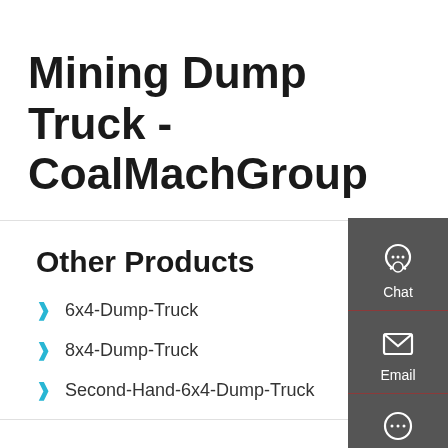Mining Dump Truck - CoalMachGroup
Other Products
6x4-Dump-Truck
8x4-Dump-Truck
Second-Hand-6x4-Dump-Truck